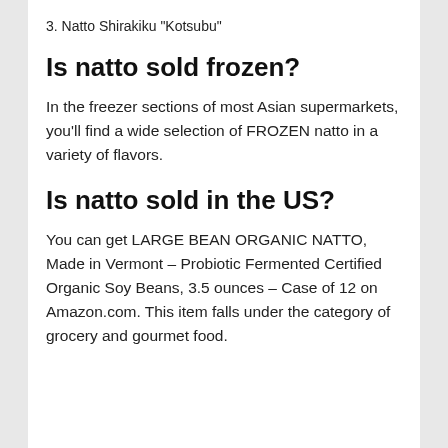3. Natto Shirakiku "Kotsubu"
Is natto sold frozen?
In the freezer sections of most Asian supermarkets, you'll find a wide selection of FROZEN natto in a variety of flavors.
Is natto sold in the US?
You can get LARGE BEAN ORGANIC NATTO, Made in Vermont – Probiotic Fermented Certified Organic Soy Beans, 3.5 ounces – Case of 12 on Amazon.com. This item falls under the category of grocery and gourmet food.